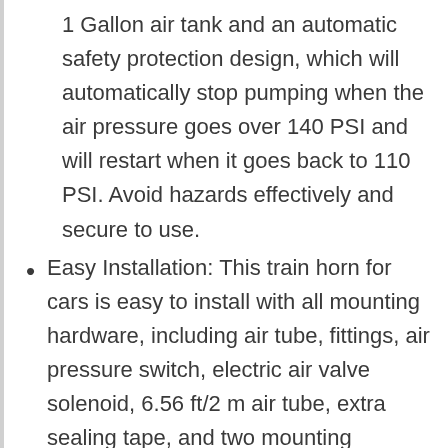1 Gallon air tank and an automatic safety protection design, which will automatically stop pumping when the air pressure goes over 140 PSI and will restart when it goes back to 110 PSI. Avoid hazards effectively and secure to use.
Easy Installation: This train horn for cars is easy to install with all mounting hardware, including air tube, fittings, air pressure switch, electric air valve solenoid, 6.56 ft/2 m air tube, extra sealing tape, and two mounting brackets. You can easily detach it from one vehicle to another.
High Versatility: This truck train horn is compact enough to fit into almost any events or where a big sound is coveted. It